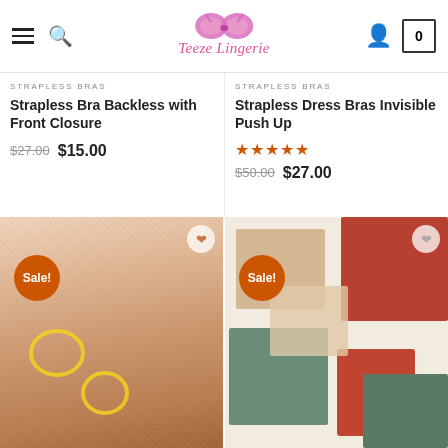Teeze Lingerie
STRAPLESS BRAS
Strapless Bra Backless with Front Closure
$27.00  $15.00
STRAPLESS BRAS
Strapless Dress Bras Invisible Push Up
$50.00  $27.00
[Figure (photo): Lace bralette being fastened at front, model wearing pink lace bra with yellow closure ring highlighted, Sale! badge overlay]
[Figure (photo): Multiple bras and underwear sets laid out in terracotta red, sage green, and beige/nude colors, Sale! badge overlay]